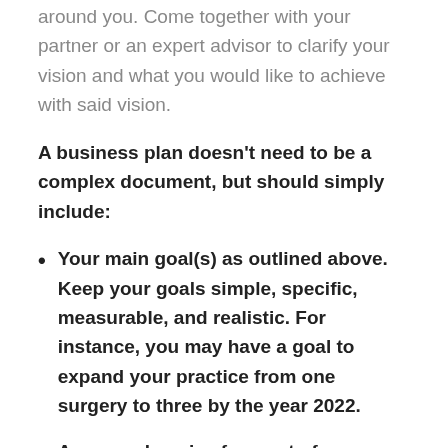around you. Come together with your partner or an expert advisor to clarify your vision and what you would like to achieve with said vision.
A business plan doesn't need to be a complex document, but should simply include:
Your main goal(s) as outlined above. Keep your goals simple, specific, measurable, and realistic. For instance, you may have a goal to expand your practice from one surgery to three by the year 2022.
A comprehensive forecast of your finances for the first twelve months.